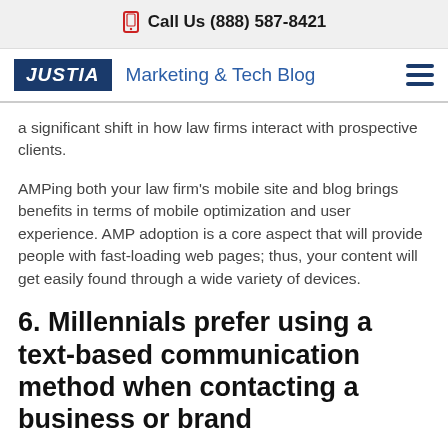Call Us (888) 587-8421
JUSTIA Marketing & Tech Blog
a significant shift in how law firms interact with prospective clients.
AMPing both your law firm's mobile site and blog brings benefits in terms of mobile optimization and user experience. AMP adoption is a core aspect that will provide people with fast-loading web pages; thus, your content will get easily found through a wide variety of devices.
6. Millennials prefer using a text-based communication method when contacting a business or brand